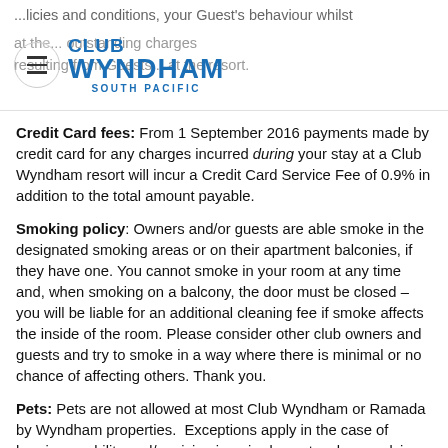Club Wyndham South Pacific
...policies and conditions, your Guest's behaviour whilst at the... outstanding charges resulting from Guests...at the resort.
Credit Card fees: From 1 September 2016 payments made by credit card for any charges incurred during your stay at a Club Wyndham resort will incur a Credit Card Service Fee of 0.9% in addition to the total amount payable.
Smoking policy: Owners and/or guests are able smoke in the designated smoking areas or on their apartment balconies, if they have one. You cannot smoke in your room at any time and, when smoking on a balcony, the door must be closed – you will be liable for an additional cleaning fee if smoke affects the inside of the room. Please consider other club owners and guests and try to smoke in a way where there is minimal or no chance of affecting others. Thank you.
Pets: Pets are not allowed at most Club Wyndham or Ramada by Wyndham properties.  Exceptions apply in the case of hearing, mobility and/or vision impaired guests, please advise at time of booking if this applies, or those staying in dog friendly designated units at designated